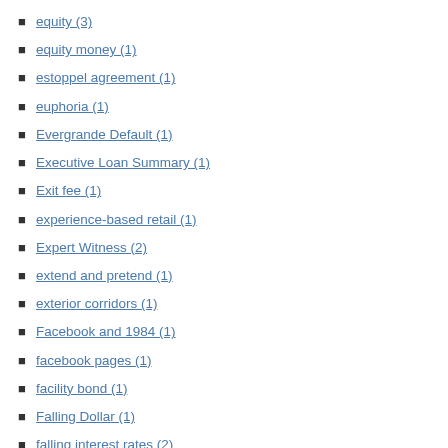equity (3)
equity money (1)
estoppel agreement (1)
euphoria (1)
Evergrande Default (1)
Executive Loan Summary (1)
Exit fee (1)
experience-based retail (1)
Expert Witness (2)
extend and pretend (1)
exterior corridors (1)
Facebook and 1984 (1)
facebook pages (1)
facility bond (1)
Falling Dollar (1)
falling interest rates (2)